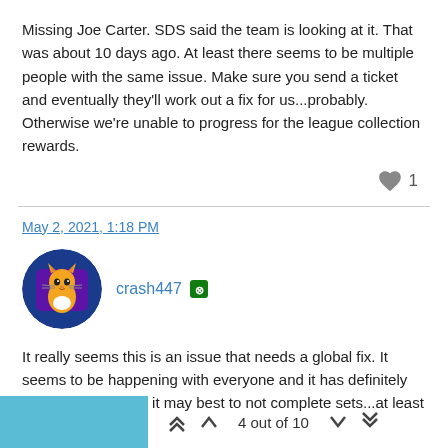Missing Joe Carter. SDS said the team is looking at it. That was about 10 days ago. At least there seems to be multiple people with the same issue. Make sure you send a ticket and eventually they'll work out a fix for us...probably. Otherwise we're unable to progress for the league collection rewards.
❤ 1
May 2, 2021, 1:18 PM
crash447 [Xbox]
It really seems this is an issue that needs a global fix. It seems to be happening with everyone and it has definitely caused me to think it may best to not complete sets...at least for the time being.
4 out of 10